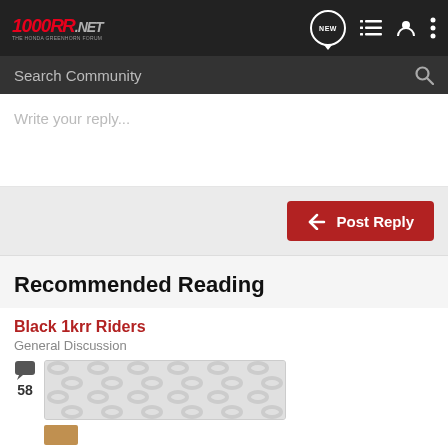1000RR.NET
Search Community
Write your reply...
Post Reply
Recommended Reading
Black 1krr Riders
General Discussion
58